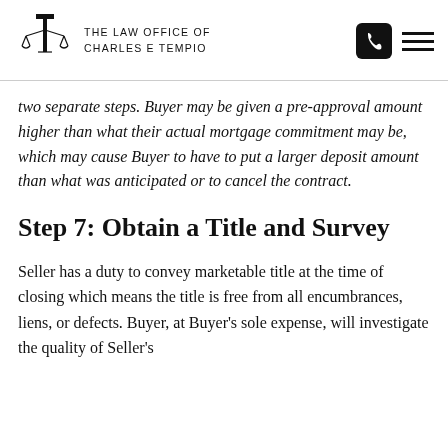THE LAW OFFICE OF CHARLES E TEMPIO
two separate steps. Buyer may be given a pre-approval amount higher than what their actual mortgage commitment may be, which may cause Buyer to have to put a larger deposit amount than what was anticipated or to cancel the contract.
Step 7: Obtain a Title and Survey
Seller has a duty to convey marketable title at the time of closing which means the title is free from all encumbrances, liens, or defects. Buyer, at Buyer's sole expense, will investigate the quality of Seller's